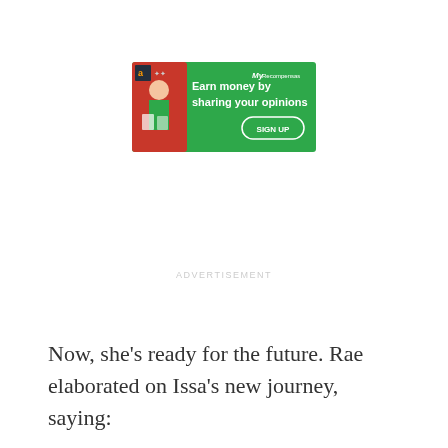[Figure (infographic): Green advertisement banner with text 'Earn money by sharing your opinions' and a SIGN UP button, featuring Amazon logo and MyRecompensas branding with a person holding shopping bags.]
ADVERTISEMENT
Now, she's ready for the future. Rae elaborated on Issa's new journey, saying: